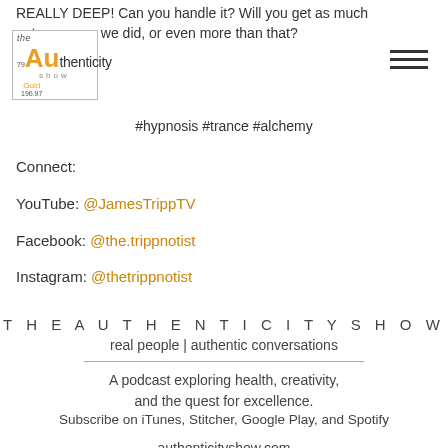REALLY DEEP! Can you handle it? Will you get as much out of it as we did, or even more than that?
[Figure (logo): The Authenticity Show logo — periodic table element style box with 'Au' in gold, 'thenticity' in dark, 'Gold', atomic number 79, mass 196.97, 'show' text]
#hypnosis #trance #alchemy
Connect:
YouTube: @JamesTrippTV
Facebook: @the.trippnotist
Instagram: @thetrippnotist
THEAUTHENTICITYSHOW
real people | authentic conversations
A podcast exploring health, creativity, and the quest for excellence.
Subscribe on iTunes, Stitcher, Google Play, and Spotify
authenticityshow.com